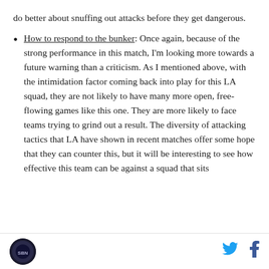do better about snuffing out attacks before they get dangerous.
How to respond to the bunker: Once again, because of the strong performance in this match, I'm looking more towards a future warning than a criticism. As I mentioned above, with the intimidation factor coming back into play for this LA squad, they are not likely to have many more open, free-flowing games like this one. They are more likely to face teams trying to grind out a result. The diversity of attacking tactics that LA have shown in recent matches offer some hope that they can counter this, but it will be interesting to see how effective this team can be against a squad that sits
SBNation logo | Twitter | Facebook